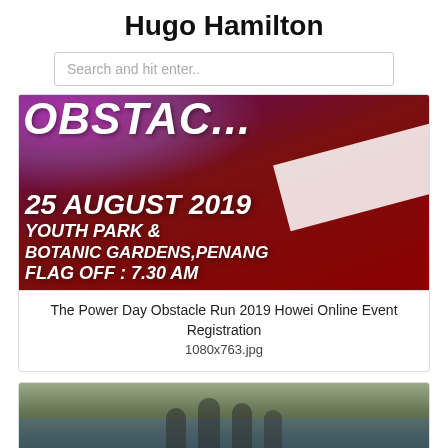Hugo Hamilton
Search and hit enter..
[Figure (photo): Event banner for The Power Day Obstacle Run 2019 showing text: OBSTACLE, 25 AUGUST 2019, YOUTH PARK & BOTANIC GARDENS, PENANG, FLAG OFF : 7.30 AM, on a dark red/purple background with participants]
The Power Day Obstacle Run 2019 Howei Online Event Registration
1080x763.jpg
[Figure (photo): Photo of a group of people splashing in water, partially visible at bottom of page]